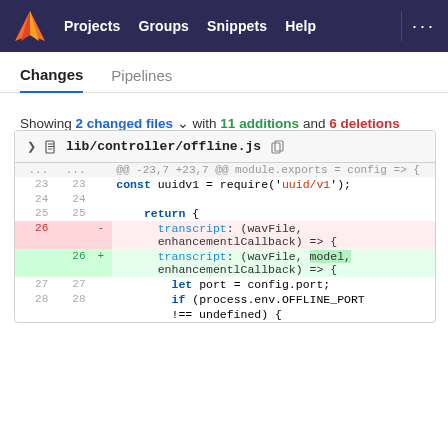Projects  Groups  Snippets  Help  ...
Changes   Pipelines
Showing 2 changed files with 11 additions and 6 deletions
lib/controller/offline.js
[Figure (screenshot): Git diff view showing changes to lib/controller/offline.js with deleted line 26 (transcript: (wavFile, enhancementlCallback) => {) and added line 26 (transcript: (wavFile, model, enhancementlCallback) => {)]